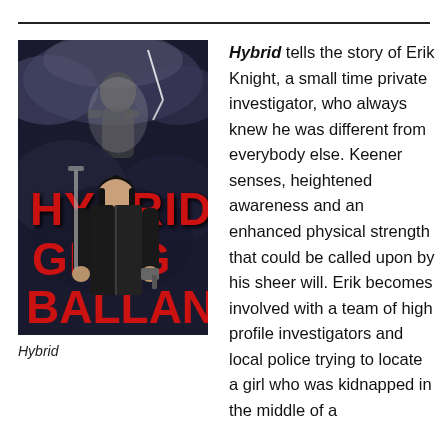[Figure (illustration): Book cover of 'Hybrid' by Greg Ballan showing a dark-haired man in black leather jacket holding a gun, with a shadowy figure above, lightning and dramatic clouds in background. Title 'HYBRID' in large red letters and 'GREG BALLAN' below.]
Hybrid
Hybrid tells the story of Erik Knight, a small time private investigator, who always knew he was different from everybody else. Keener senses, heightened awareness and an enhanced physical strength that could be called upon by his sheer will. Erik becomes involved with a team of high profile investigators and local police trying to locate a girl who was kidnapped in the middle of a